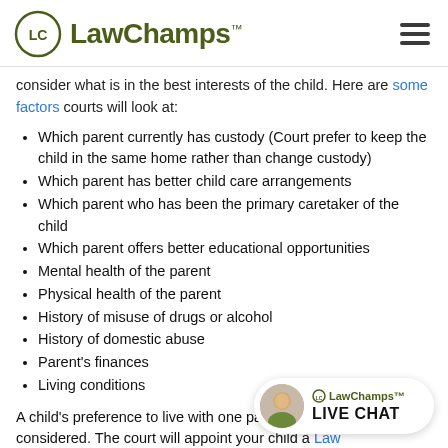LawChamps
consider what is in the best interests of the child. Here are some factors courts will look at:
Which parent currently has custody (Court prefer to keep the child in the same home rather than change custody)
Which parent has better child care arrangements
Which parent who has been the primary caretaker of the child
Which parent offers better educational opportunities
Mental health of the parent
Physical health of the parent
History of misuse of drugs or alcohol
History of domestic abuse
Parent's finances
Living conditions
A child's preference to live with one pa… considered. The court will appoint your child a Law